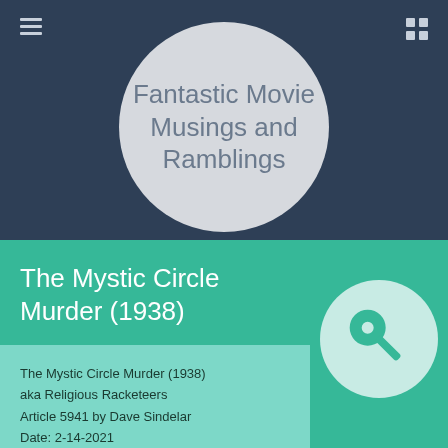Fantastic Movie Musings and Ramblings
The Mystic Circle Murder (1938)
The Mystic Circle Murder (1938)
aka Religious Racketeers
Article 5941 by Dave Sindelar
Date: 2-14-2021